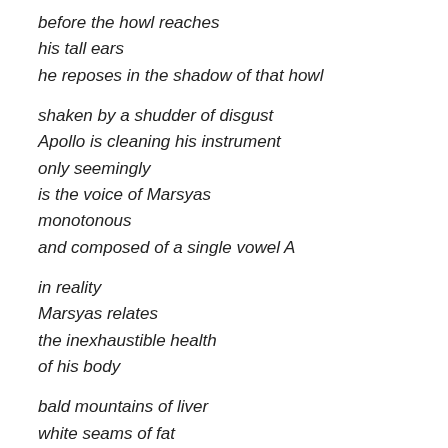before the howl reaches
his tall ears
he reposes in the shadow of that howl

shaken by a shudder of disgust
Apollo is cleaning his instrument
only seemingly
is the voice of Marsyas
monotonous
and composed of a single vowel A

in reality
Marsyas relates
the inexhaustible health
of his body

bald mountains of liver
white seams of fat